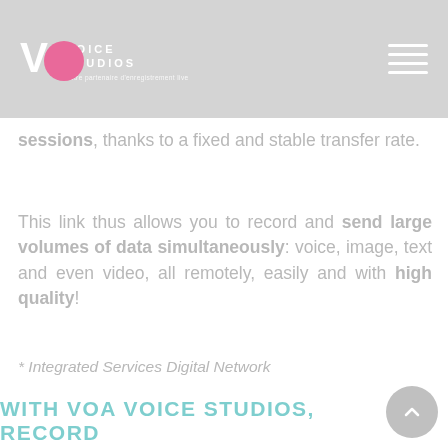VOA Voice Studios
sessions, thanks to a fixed and stable transfer rate.
This link thus allows you to record and send large volumes of data simultaneously: voice, image, text and even video, all remotely, easily and with high quality!
* Integrated Services Digital Network
WITH VOA VOICE STUDIOS, RECORD